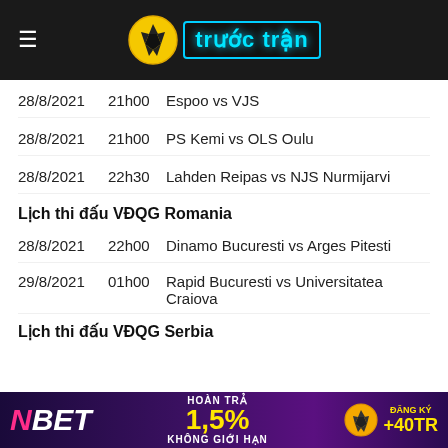[Figure (logo): Trước Trận website logo with football/soccer ball icon and cyan text on dark background, with hamburger menu icon on the left]
28/8/2021  21h00  Espoo vs VJS
28/8/2021  21h00  PS Kemi vs OLS Oulu
28/8/2021  22h30  Lahden Reipas vs NJS Nurmijarvi
Lịch thi đấu VĐQG Romania
28/8/2021  22h00  Dinamo Bucuresti vs Arges Pitesti
29/8/2021  01h00  Rapid Bucuresti vs Universitatea Craiova
Lịch thi đấu VĐQG Serbia
[Figure (illustration): NBET advertisement banner: pink/magenta N, white BET, HOÀN TRẢ 1,5%, KHÔNG GIỚI HẠN, ĐĂNG KÝ +40TR, on purple/dark background]